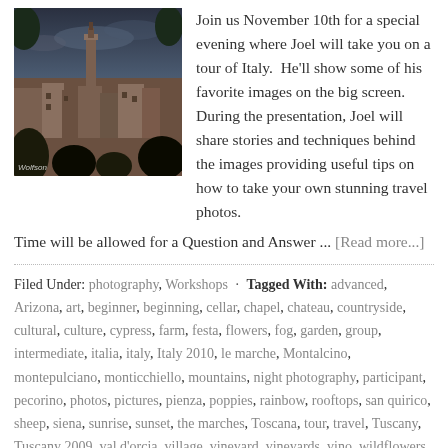[Figure (photo): Photo of an Italian city skyline (Siena) with a tower, terracotta rooftops, trees, and dramatic sky. Watermark reads 'Wolfson'.]
Join us November 10th for a special evening where Joel will take you on a tour of Italy. He'll show some of his favorite images on the big screen. During the presentation, Joel will share stories and techniques behind the images providing useful tips on how to take your own stunning travel photos. Time will be allowed for a Question and Answer ... [Read more...]
Filed Under: photography, Workshops · Tagged With: advanced, Arizona, art, beginner, beginning, cellar, chapel, chateau, countryside, cultural, culture, cypress, farm, festa, flowers, fog, garden, group, intermediate, italia, italy, Italy 2010, le marche, Montalcino, montepulciano, monticchiello, mountains, night photography, participant, pecorino, photos, pictures, pienza, poppies, rainbow, rooftops, san quirico, sheep, siena, sunrise, sunset, the marches, Toscana, tour, travel, Tuscany, Tuscany 2009, val d'orcia, village, vineyard, vineyards, vino, wildflowers,